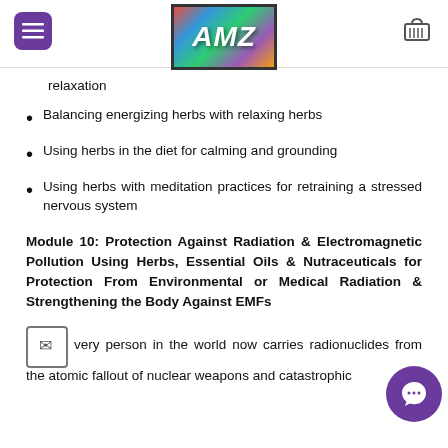AMZ logo and navigation header
relaxation
Balancing energizing herbs with relaxing herbs
Using herbs in the diet for calming and grounding
Using herbs with meditation practices for retraining a stressed nervous system
Module 10: Protection Against Radiation & Electromagnetic Pollution Using Herbs, Essential Oils & Nutraceuticals for Protection From Environmental or Medical Radiation & Strengthening the Body Against EMFs
Every person in the world now carries radionuclides from the atomic fallout of nuclear weapons and catastrophic